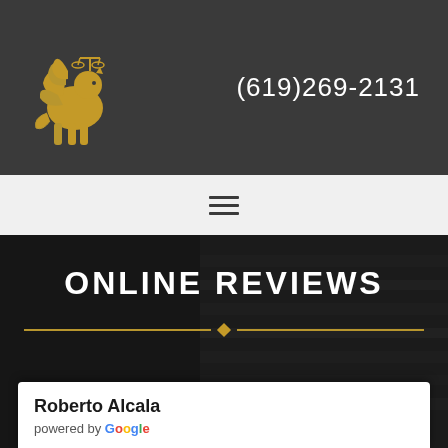[Figure (logo): Golden griffin/lion holding scales of justice logo on dark grey header background]
(619)269-2131
[Figure (other): Hamburger menu icon (three horizontal lines)]
[Figure (photo): Dark background image showing stacked books or shelves, overlaid with a dark semi-transparent layer]
ONLINE REVIEWS
Roberto Alcala
powered by Google